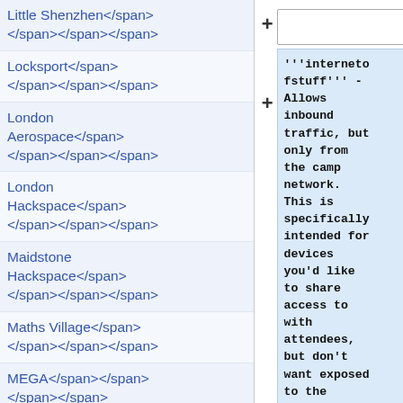Little Shenzhen</span></span></span></span>
Locksport</span></span></span></span>
London Aerospace</span></span></span></span>
London Hackspace</span></span></span></span>
Maidstone Hackspace</span></span></span></span>
Maths Village</span></span></span></span>
MEGA</span></span></span></span>
Mega Pi Noon</span></span></span></span>
Milliways</span></span></span></span>
MiscHaufen</span></span></span></span>
MK Makerspace</span></span></span></span>
Moose</span></span></span></span>
Motley Crew</span>
[Figure (screenshot): UI editor with a plus button and an input box at top, and a code/text block below showing wiki markup about 'internetofstuff' network policy.]
'''internetofstuff''' - Allows inbound traffic, but only from the camp network. This is specifically intended for devices you'd like to share access to with attendees, but don't want exposed to the